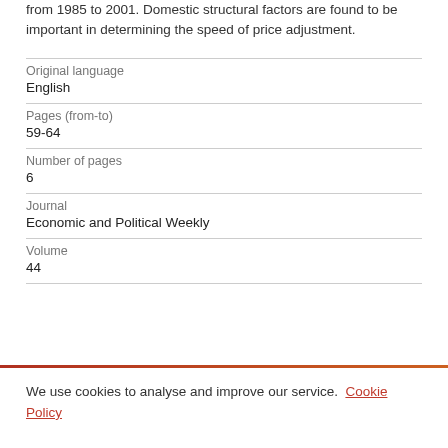from 1985 to 2001. Domestic structural factors are found to be important in determining the speed of price adjustment.
| Original language | English |
| Pages (from-to) | 59-64 |
| Number of pages | 6 |
| Journal | Economic and Political Weekly |
| Volume | 44 |
We use cookies to analyse and improve our service. Cookie Policy